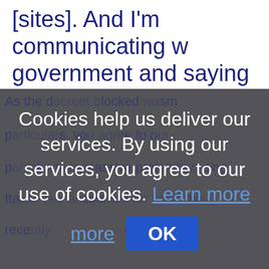[sites]. And I'm communicating with government and saying we cannot the delay."
[Figure (screenshot): Cookie consent overlay dialog on a webpage, showing the message: 'Cookies help us deliver our services. By using our services, you agree to our use of cookies. Learn more' with a 'Learn more' link and an 'OK' button. Background page text is partially visible behind the dark overlay.]